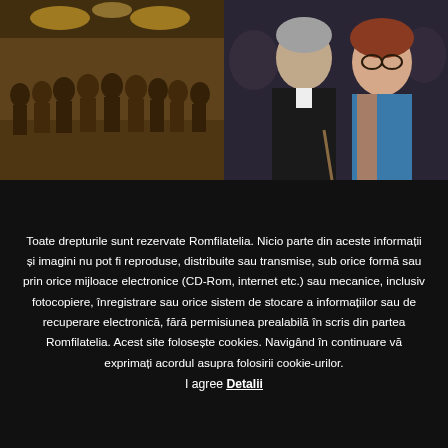[Figure (photo): Group photo of approximately 12 people standing in a restaurant/banquet room with overhead lights]
[Figure (photo): Close-up photo of an elderly man with a cane and a woman with glasses, both smiling]
Toate drepturile sunt rezervate Romfilatelia. Nicio parte din aceste informații și imagini nu pot fi reproduse, distribuite sau transmise, sub orice formă sau prin orice mijloace electronice (CD-Rom, internet etc.) sau mecanice, inclusiv fotocopiere, înregistrare sau orice sistem de stocare a informațiilor sau de recuperare electronică, fără permisiunea prealabilă în scris din partea Romfilatelia. Acest site folosește cookies. Navigând în continuare vă exprimați acordul asupra folosirii cookie-urilor.
I agree Detalii